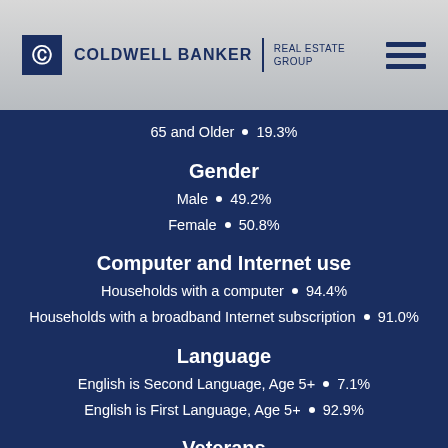Coldwell Banker Real Estate Group
65 and Older • 19.3%
Gender
Male • 49.2%
Female • 50.8%
Computer and Internet use
Households with a computer • 94.4%
Households with a broadband Internet subscription • 91.0%
Language
English is Second Language, Age 5+ • 7.1%
English is First Language, Age 5+ • 92.9%
Veterans